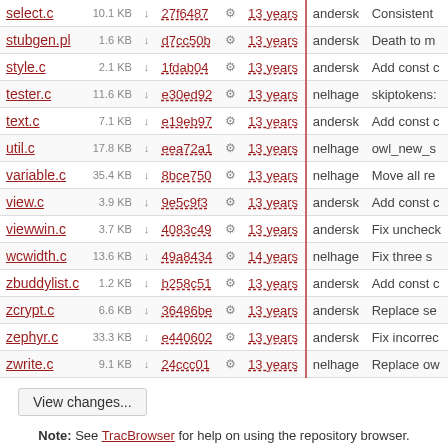| filename | size |  | hash |  | age | author | message |
| --- | --- | --- | --- | --- | --- | --- | --- |
| select.c | 10.1 KB | ↓ | 27f6487 | ⚙ | 13 years | andersk | Consistent |
| stubgen.pl | 1.6 KB | ↓ | d7cc50b | ⚙ | 13 years | andersk | Death to m |
| style.c | 2.1 KB | ↓ | 1fdab04 | ⚙ | 13 years | andersk | Add const c |
| tester.c | 11.6 KB | ↓ | e30ed92 | ⚙ | 13 years | nelhage | skiptokens: |
| text.c | 7.1 KB | ↓ | e19eb97 | ⚙ | 13 years | andersk | Add const c |
| util.c | 17.8 KB | ↓ | eea72a1 | ⚙ | 13 years | nelhage | owl_new_s |
| variable.c | 35.4 KB | ↓ | 8bce750 | ⚙ | 13 years | nelhage | Move all re |
| view.c | 3.9 KB | ↓ | 9e5c9f3 | ⚙ | 13 years | andersk | Add const c |
| viewwin.c | 3.7 KB | ↓ | 4083c49 | ⚙ | 13 years | andersk | Fix uncheck |
| wcwidth.c | 13.6 KB | ↓ | 49a8434 | ⚙ | 14 years | nelhage | Fix three s |
| zbuddylist.c | 1.2 KB | ↓ | b258c51 | ⚙ | 13 years | andersk | Add const c |
| zcrypt.c | 6.6 KB | ↓ | 36486be | ⚙ | 13 years | andersk | Replace se |
| zephyr.c | 33.3 KB | ↓ | e440602 | ⚙ | 13 years | andersk | Fix incorrec |
| zwrite.c | 9.1 KB | ↓ | 24ccc01 | ⚙ | 13 years | nelhage | Replace ow |
View changes...
Note: See TracBrowser for help on using the repository browser.
[Figure (logo): Trac powered logo with paw print icon]
Powered by Trac 1.0.2
By Edgewall Software.
The photo in the BarnOwl logo is from Steve Brace on Flickr and used under CC-BY